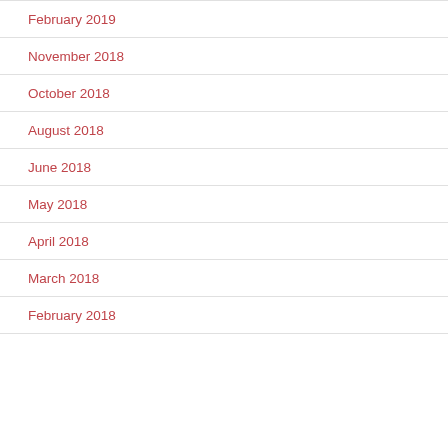February 2019
November 2018
October 2018
August 2018
June 2018
May 2018
April 2018
March 2018
February 2018